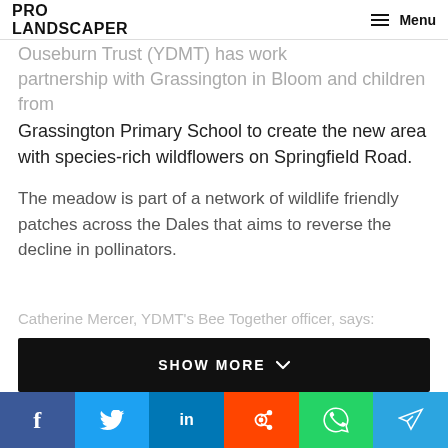PRO LANDSCAPER | Menu
...Ouseburn Trust (YDMT) has work... partnership with Grassington in Bloom and children from Grassington Primary School to create the new area with species-rich wildflowers on Springfield Road.
The meadow is part of a network of wildlife friendly patches across the Dales that aims to reverse the decline in pollinators.
Catherine Mercer, YDMT's Bee Together officer, says:
[Figure (other): SHOW MORE button (black background, white uppercase text with chevron)]
[Figure (other): Social share icons row: Facebook, Twitter, LinkedIn, Tumblr, Pinterest, Reddit, WhatsApp, Telegram]
[Figure (other): Bottom sticky social bar: Facebook (blue), Twitter (light blue), LinkedIn (dark blue), Reddit (orange), WhatsApp (green), Telegram (sky blue)]